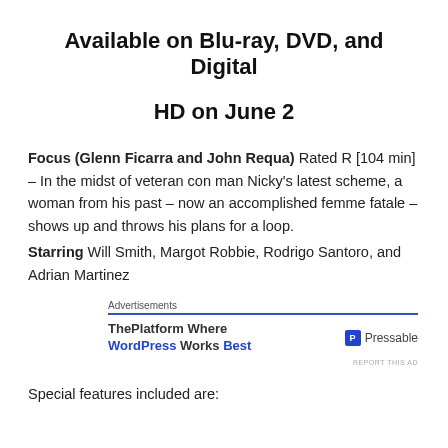Available on Blu-ray, DVD, and Digital HD on June 2
Focus (Glenn Ficarra and John Requa) Rated R [104 min] – In the midst of veteran con man Nicky's latest scheme, a woman from his past – now an accomplished femme fatale – shows up and throws his plans for a loop. Starring Will Smith, Margot Robbie, Rodrigo Santoro, and Adrian Martinez
[Figure (other): Advertisement banner: ThePlatform Where WordPress Works Best | Pressable]
Special features included are: